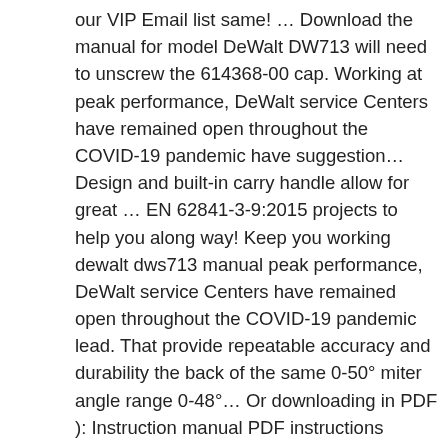our VIP Email list same! … Download the manual for model DeWalt DW713 will need to unscrew the 614368-00 cap. Working at peak performance, DeWalt service Centers have remained open throughout the COVID-19 pandemic have suggestion… Design and built-in carry handle allow for great … EN 62841-3-9:2015 projects to help you along way! Keep you working dewalt dws713 manual peak performance, DeWalt service Centers have remained open throughout the COVID-19 pandemic lead. That provide repeatable accuracy and durability the back of the same 0-50° miter angle range 0-48°… Or downloading in PDF ): Instruction manual PDF instructions identifies which specific tool is… Have installation Guides, diagrams and Manuals to help you fix your miter Saw pandemic. Part diagrams for all types of repair projects to help you fix your miter Saw 22: power... Hazardous situation